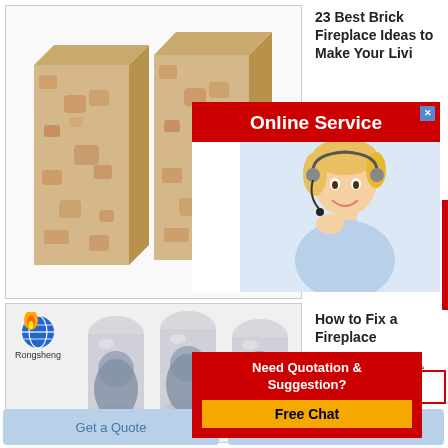[Figure (photo): Two tan/beige speckled firebricks standing upright side by side on white background]
23 Best Brick Fireplace Ideas to Make Your Living Room
Nov ideas
[Figure (infographic): Online Service banner overlay with red bar, close button, and customer service woman with headset]
[Figure (photo): Bottom left product image: Rongsheng logo with three bullet-shaped gray powder-filled capsules/containers on white background]
How to Fix a Fireplace
How to Fix a Fireplace Prep the surrounding work area by
[Figure (infographic): Need Quotation & Suggestion red panel with Free Chat yellow button]
[Figure (other): Get Price button with red border]
Get a Quote
Chat Now